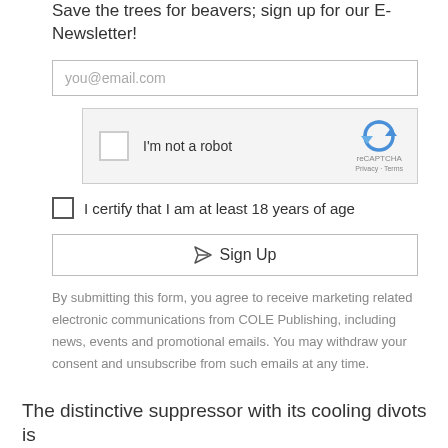Save the trees for beavers; sign up for our E-Newsletter!
[Figure (screenshot): Email input field with placeholder text 'you@email.com']
[Figure (screenshot): reCAPTCHA widget with checkbox labeled 'I'm not a robot' and reCAPTCHA logo with Privacy - Terms text]
I certify that I am at least 18 years of age
[Figure (screenshot): Sign Up button with send/paper-plane icon]
By submitting this form, you agree to receive marketing related electronic communications from COLE Publishing, including news, events and promotional emails. You may withdraw your consent and unsubscribe from such emails at any time.
The distinctive suppressor with its cooling divots is